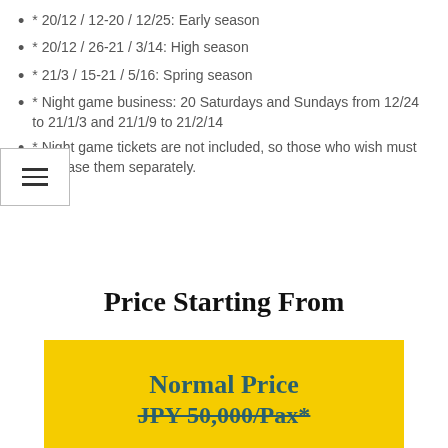* 20/12 / 12-20 / 12/25: Early season
* 20/12 / 26-21 / 3/14: High season
* 21/3 / 15-21 / 5/16: Spring season
* Night game business: 20 Saturdays and Sundays from 12/24 to 21/1/3 and 21/1/9 to 21/2/14
* Night game tickets are not included, so those who wish must purchase them separately.
Price Starting From
Normal Price
JPY 50,000/Pax*